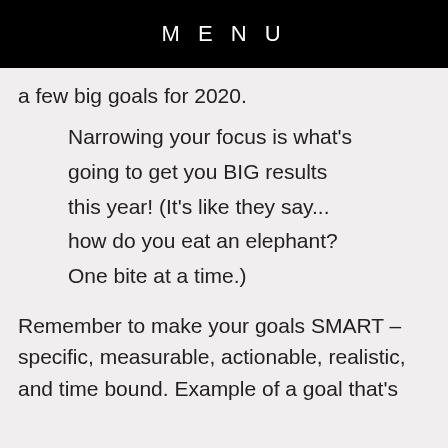MENU
a few big goals for 2020.
Narrowing your focus is what's going to get you BIG results this year! (It's like they say... how do you eat an elephant? One bite at a time.)
Remember to make your goals SMART – specific, measurable, actionable, realistic, and time bound. Example of a goal that's